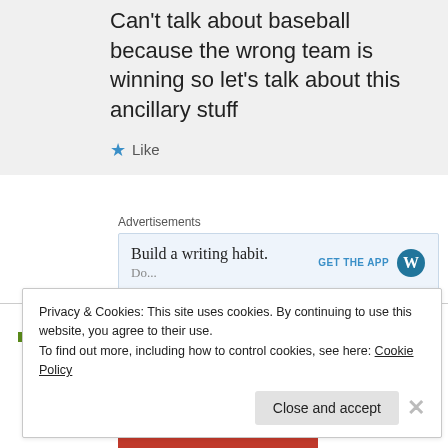Can't talk about baseball because the wrong team is winning so let's talk about this ancillary stuff
★ Like
Advertisements
[Figure (screenshot): Advertisement banner: 'Build a writing habit.' with 'GET THE APP' button and WordPress logo]
Diane on October 28, 2017 at 11:17 am
Privacy & Cookies: This site uses cookies. By continuing to use this website, you agree to their use.
To find out more, including how to control cookies, see here: Cookie Policy
Close and accept
Advertisements